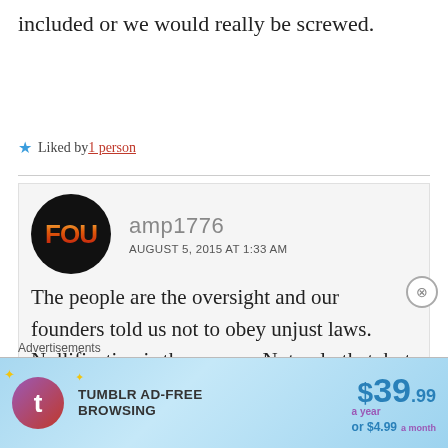included or we would really be screwed.
Liked by 1 person
amp1776
AUGUST 5, 2015 AT 1:33 AM
The people are the oversight and our founders told us not to obey unjust laws. Nullification is the answer. Not only that, but without a
[Figure (infographic): Tumblr Ad-Free Browsing advertisement banner: $39.99 a year or $4.99 a month]
Advertisements